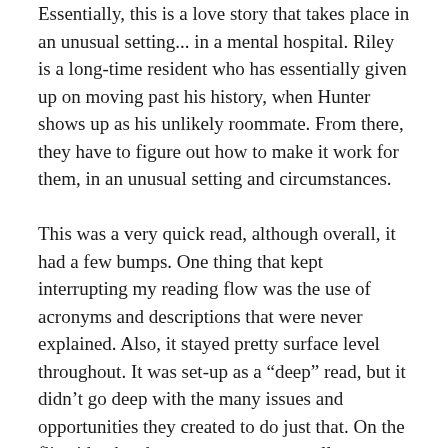Essentially, this is a love story that takes place in an unusual setting... in a mental hospital. Riley is a long-time resident who has essentially given up on moving past his history, when Hunter shows up as his unlikely roommate. From there, they have to figure out how to make it work for them, in an unusual setting and circumstances.
This was a very quick read, although overall, it had a few bumps. One thing that kept interrupting my reading flow was the use of acronyms and descriptions that were never explained. Also, it stayed pretty surface level throughout. It was set-up as a “deep” read, but it didn’t go deep with the many issues and opportunities they created to do just that. On the flip side, the characters were very well developed. They both had a backstory and they were easy to connect with.